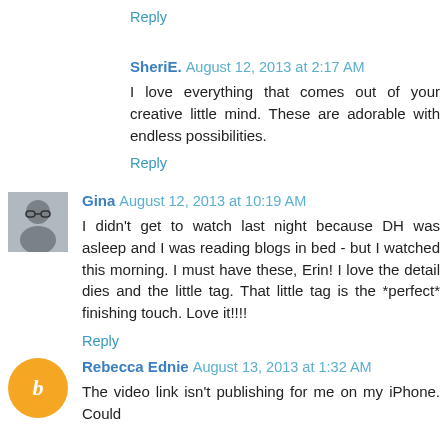Reply
SheriE. August 12, 2013 at 2:17 AM
I love everything that comes out of your creative little mind. These are adorable with endless possibilities.
Reply
Gina August 12, 2013 at 10:19 AM
I didn't get to watch last night because DH was asleep and I was reading blogs in bed - but I watched this morning. I must have these, Erin! I love the detail dies and the little tag. That little tag is the *perfect* finishing touch. Love it!!!!
Reply
Rebecca Ednie August 13, 2013 at 1:32 AM
The video link isn't publishing for me on my iPhone. Could